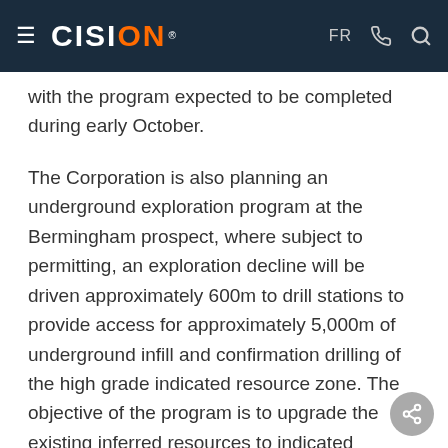CISION
with the program expected to be completed during early October.
The Corporation is also planning an underground exploration program at the Bermingham prospect, where subject to permitting, an exploration decline will be driven approximately 600m to drill stations to provide access for approximately 5,000m of underground infill and confirmation drilling of the high grade indicated resource zone. The objective of the program is to upgrade the existing inferred resources to indicated resources and to upgrade existing indicated resources to measured resources status through completion of closer spaced drilling